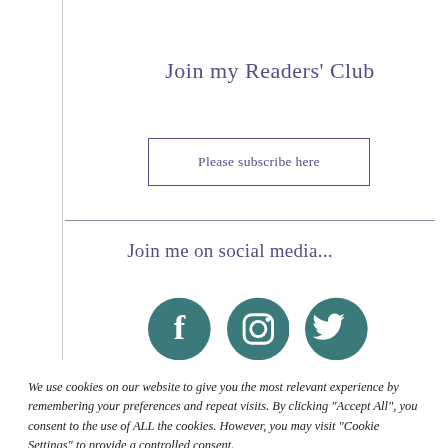Join my Readers' Club
Please subscribe here
Join me on social media...
[Figure (illustration): Three social media icons: Facebook (teal circle with F), Instagram (teal circle with camera icon), Twitter (teal circle with bird icon)]
We use cookies on our website to give you the most relevant experience by remembering your preferences and repeat visits. By clicking “Accept All”, you consent to the use of ALL the cookies. However, you may visit “Cookie Settings” to provide a controlled consent.
Cookie Settings | Accept All